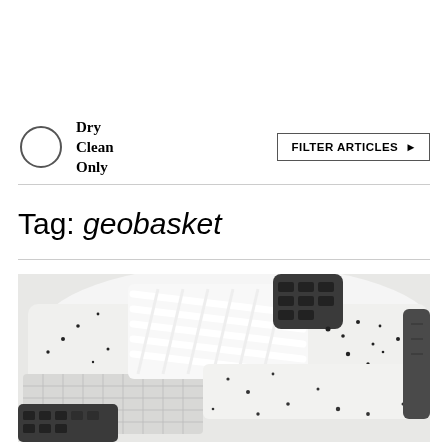Dry Clean Only
Tag: geobasket
[Figure (photo): Close-up photo of a white sneaker with black speckle pattern and dark grey rubber sole/lacing components, showing waffle-textured midsole detail]